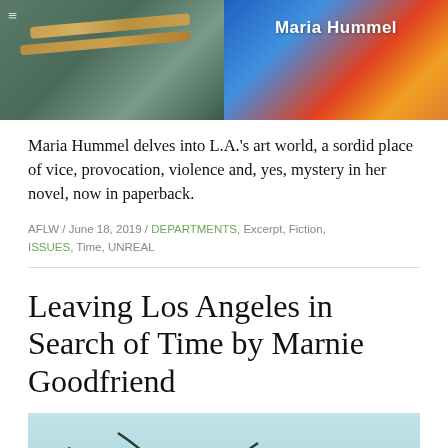[Figure (photo): Two side-by-side images: left shows a person holding ropes/reins with a teal background, right shows a colorful book cover with the text 'Maria Hummel' in white]
Maria Hummel delves into L.A.'s art world, a sordid place of vice, provocation, violence and, yes, mystery in her novel, now in paperback.
AFLW / June 18, 2019 / DEPARTMENTS, Excerpt, Fiction, ISSUES, Time, UNREAL
Leaving Los Angeles in Search of Time by Marnie Goodfriend
[Figure (photo): Photo of palm tree fronds against a light blue sky]